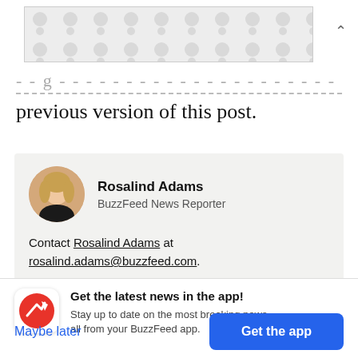[Figure (other): Advertisement banner with a repeating dot/circle pattern background, light gray on slightly lighter gray]
— — g - - - - - - - - - - - - - . - - - - - - - - - - - p - - - - - - - - a
previous version of this post.
Rosalind Adams
BuzzFeed News Reporter
Contact Rosalind Adams at rosalind.adams@buzzfeed.com.
Get the latest news in the app! Stay up to date on the most breaking news, all from your BuzzFeed app.
Maybe later
Get the app